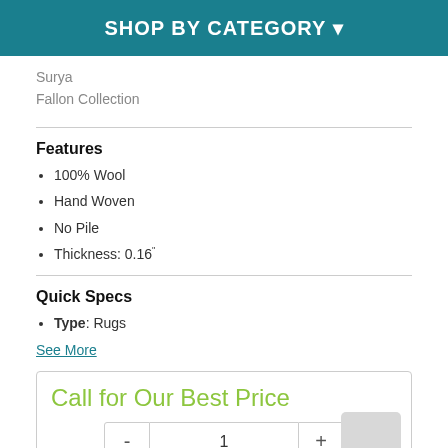SHOP BY CATEGORY ▼
Surya
Fallon Collection
Features
100% Wool
Hand Woven
No Pile
Thickness: 0.16"
Quick Specs
Type: Rugs
See More
Call for Our Best Price
1